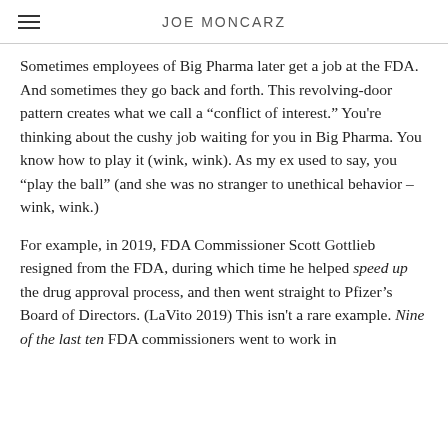JOE MONCARZ
Sometimes employees of Big Pharma later get a job at the FDA. And sometimes they go back and forth. This revolving-door pattern creates what we call a “conflict of interest.” You're thinking about the cushy job waiting for you in Big Pharma. You know how to play it (wink, wink). As my ex used to say, you “play the ball” (and she was no stranger to unethical behavior – wink, wink.)
For example, in 2019, FDA Commissioner Scott Gottlieb resigned from the FDA, during which time he helped speed up the drug approval process, and then went straight to Pfizer’s Board of Directors. (LaVito 2019) This isn't a rare example. Nine of the last ten FDA commissioners went to work in